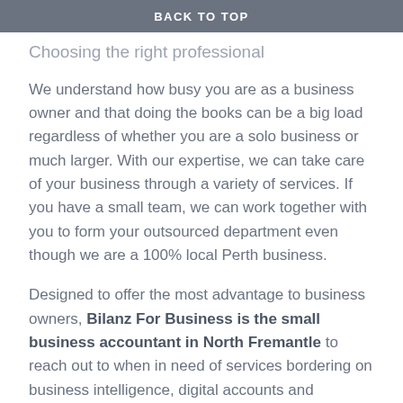BACK TO TOP
Choosing the right professional
We understand how busy you are as a business owner and that doing the books can be a big load regardless of whether you are a solo business or much larger. With our expertise, we can take care of your business through a variety of services. If you have a small team, we can work together with you to form your outsourced department even though we are a 100% local Perth business.
Designed to offer the most advantage to business owners, Bilanz For Business is the small business accountant in North Fremantle to reach out to when in need of services bordering on business intelligence, digital accounts and bookkeeping, outsourced payroll, executive assistant services and cloud integration.